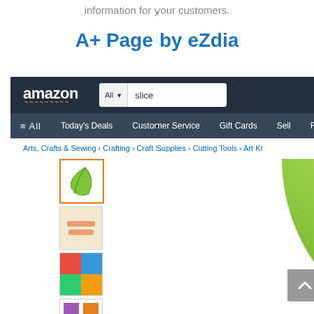information for your customers.
A+ Page by eZdia
[Figure (screenshot): Screenshot of Amazon product page showing Amazon logo with search bar containing 'slice', navigation bar with All, Today's Deals, Customer Service, Gift Cards, Sell, Regi... links, breadcrumb trail showing Arts, Crafts & Sewing > Crafting > Craft Supplies > Cutting Tools > Art Kr..., a column of 7 product thumbnail images on the left, and a large green product image (appears to be a craft cutting tool) on the right. A grey scroll-up button is visible on the far right. A '6 VIDEOS' label appears below the last thumbnail.]